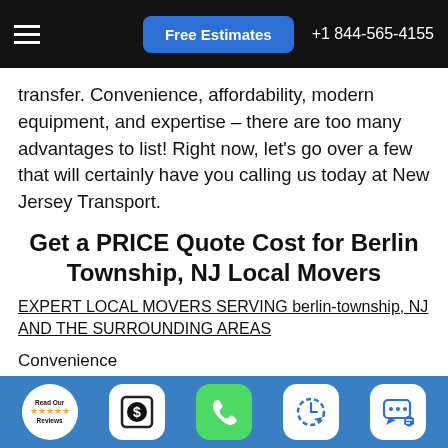Free Estimates  +1 844-565-4155
transfer. Convenience, affordability, modern equipment, and expertise – there are too many advantages to list! Right now, let's go over a few that will certainly have you calling us today at New Jersey Transport.
Get a PRICE Quote Cost for Berlin Township, NJ Local Movers
EXPERT LOCAL MOVERS SERVING berlin-township, NJ AND THE SURROUNDING AREAS
Convenience
Local movers know the lay of the land. Coupled with